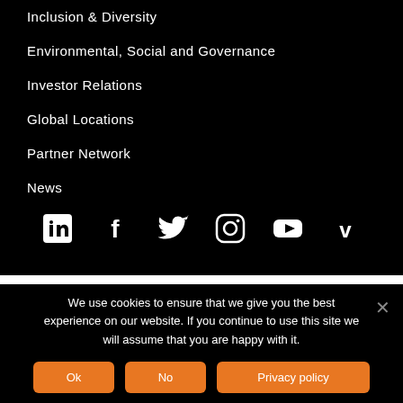Inclusion & Diversity
Environmental, Social and Governance
Investor Relations
Global Locations
Partner Network
News
[Figure (infographic): Social media icons: LinkedIn, Facebook, Twitter, Instagram, YouTube, Vimeo]
We use cookies to ensure that we give you the best experience on our website. If you continue to use this site we will assume that you are happy with it.
Ok | No | Privacy policy